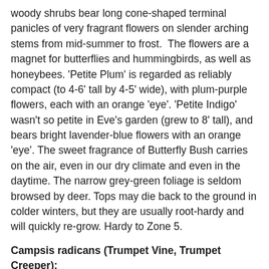woody shrubs bear long cone-shaped terminal panicles of very fragrant flowers on slender arching stems from mid-summer to frost.  The flowers are a magnet for butterflies and hummingbirds, as well as honeybees. 'Petite Plum' is regarded as reliably compact (to 4-6' tall by 4-5' wide), with plum-purple flowers, each with an orange 'eye'. 'Petite Indigo' wasn't so petite in Eve's garden (grew to 8' tall), and bears bright lavender-blue flowers with an orange 'eye'. The sweet fragrance of Butterfly Bush carries on the air, even in our dry climate and even in the daytime. The narrow grey-green foliage is seldom browsed by deer. Tops may die back to the ground in colder winters, but they are usually root-hardy and will quickly re-grow. Hardy to Zone 5.
Campsis radicans (Trumpet Vine, Trumpet Creeper):
Trumpet Vine is a vigorous and long-lived woody clinging vine to 20-30' tall.  The handsome pinnately compound foliage is deep green and leathery. In mid summer, Trumpet Vine is decorated with hundreds of gorgeous large waxy trumpet-